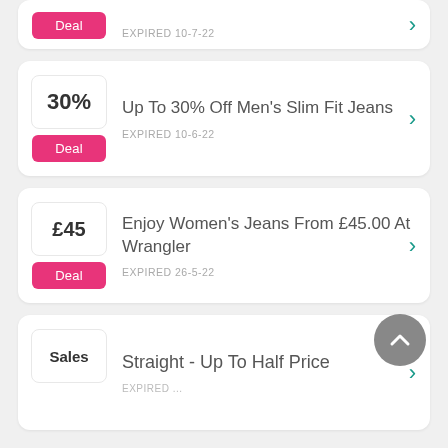Deal | EXPIRED 10-7-22
30% | Up To 30% Off Men's Slim Fit Jeans | Deal | EXPIRED 10-6-22
£45 | Enjoy Women's Jeans From £45.00 At Wrangler | Deal | EXPIRED 26-5-22
Sales | Straight - Up To Half Price | Deal | EXPIRED ...